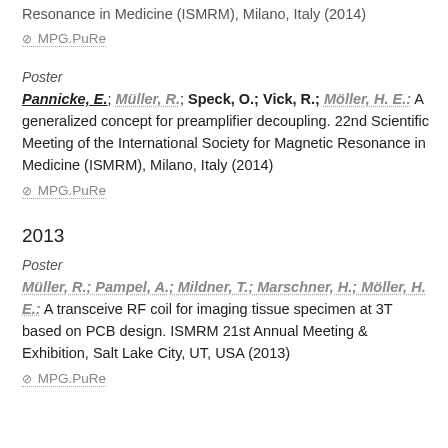Resonance in Medicine (ISMRM), Milano, Italy (2014)
⊘ MPG.PuRe
Poster
Pannicke, E.; Müller, R.; Speck, O.; Vick, R.; Möller, H. E.: A generalized concept for preamplifier decoupling. 22nd Scientific Meeting of the International Society for Magnetic Resonance in Medicine (ISMRM), Milano, Italy (2014)
⊘ MPG.PuRe
2013
Poster
Müller, R.; Pampel, A.; Mildner, T.; Marschner, H.; Möller, H. E.: A transceive RF coil for imaging tissue specimen at 3T based on PCB design. ISMRM 21st Annual Meeting & Exhibition, Salt Lake City, UT, USA (2013)
⊘ MPG.PuRe